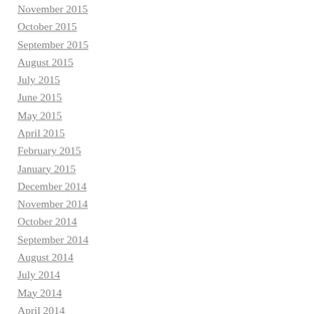November 2015
October 2015
September 2015
August 2015
July 2015
June 2015
May 2015
April 2015
February 2015
January 2015
December 2014
November 2014
October 2014
September 2014
August 2014
July 2014
May 2014
April 2014